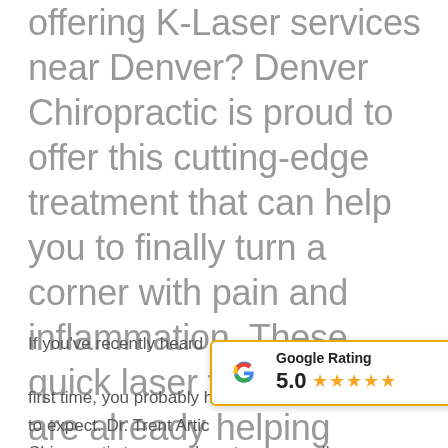offering K-Laser services near Denver? Denver Chiropractic is proud to offer this cutting-edge treatment that can help you to finally turn a corner with pain and inflammation. These quick laser treatments are already helping countless patients to see improvements in musculoskeletal health.
If you've recently heard ... first time, you probably h... to expect. Dr. Trent Artic... Chiropractic team are here to answer all your questions.
[Figure (other): Google Rating widget showing 5.0 stars with five filled orange stars and the Google 'G' logo]